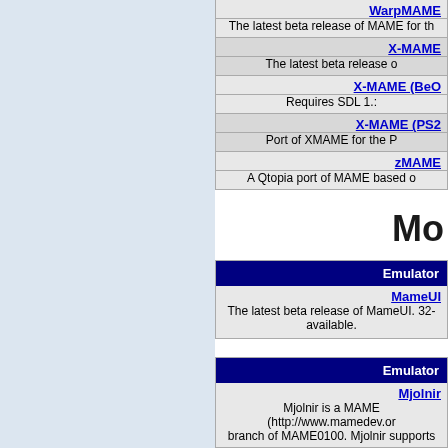| WarpMAME | The latest beta release of MAME for th... |
| X-MAME | The latest beta release o... |
| X-MAME (BeO... | Requires SDL 1.... |
| X-MAME (PS2... | Port of XMAME for the P... |
| zMAME | A Qtopia port of MAME based o... |
Mo...
| Emulator |
| --- |
| MameUI | The latest beta release of MameUI. 32-... available. |
| Emulator |
| --- |
| Mjolnir | Mjolnir is a MAME (http://www.mamedev.or... branch of MAME0100. Mjolnir supports ... |